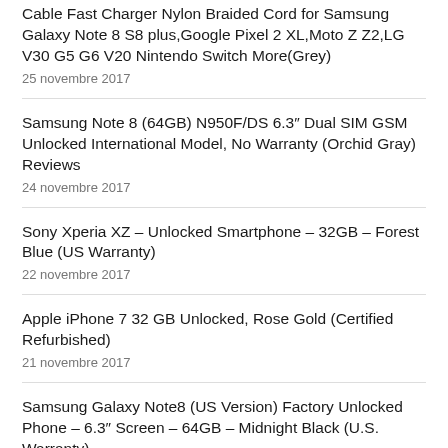Cable Fast Charger Nylon Braided Cord for Samsung Galaxy Note 8 S8 plus,Google Pixel 2 XL,Moto Z Z2,LG V30 G5 G6 V20 Nintendo Switch More(Grey)
25 novembre 2017
Samsung Note 8 (64GB) N950F/DS 6.3″ Dual SIM GSM Unlocked International Model, No Warranty (Orchid Gray) Reviews
24 novembre 2017
Sony Xperia XZ – Unlocked Smartphone – 32GB – Forest Blue (US Warranty)
22 novembre 2017
Apple iPhone 7 32 GB Unlocked, Rose Gold (Certified Refurbished)
21 novembre 2017
Samsung Galaxy Note8 (US Version) Factory Unlocked Phone – 6.3″ Screen – 64GB – Midnight Black (U.S. Warranty)
20 novembre 2017
Apple iPhone 8 Plus 5.5″, 64 GB, Fully Unlocked, Gold